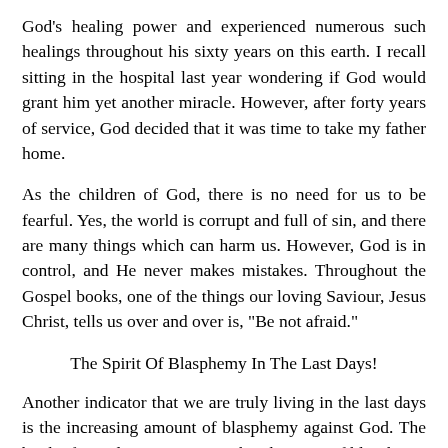God's healing power and experienced numerous such healings throughout his sixty years on this earth. I recall sitting in the hospital last year wondering if God would grant him yet another miracle. However, after forty years of service, God decided that it was time to take my father home.
As the children of God, there is no need for us to be fearful. Yes, the world is corrupt and full of sin, and there are many things which can harm us. However, God is in control, and He never makes mistakes. Throughout the Gospel books, one of the things our loving Saviour, Jesus Christ, tells us over and over is, "Be not afraid."
The Spirit Of Blasphemy In The Last Days!
Another indicator that we are truly living in the last days is the increasing amount of blasphemy against God. The book of Revelations warns us that the spirit of blasphemy would rise up and that this problem will increase as we get closer to the coming of our Lord.